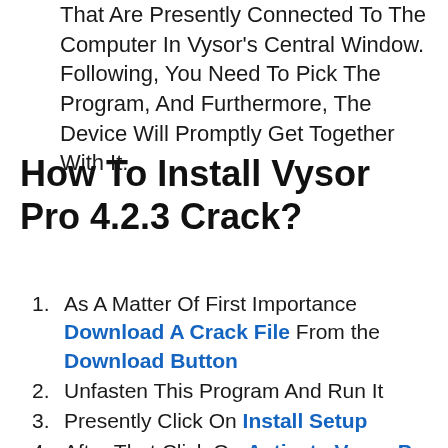That Are Presently Connected To The Computer In Vysor's Central Window. Following, You Need To Pick The Program, And Furthermore, The Device Will Promptly Get Together With It.
How To Install Vysor Pro 4.2.3 Crack?
As A Matter Of First Importance Download A Crack File From the Download Button
Unfasten This Program And Run It
Presently Click On Install Setup
After That Click On Activate Vysor Pro
Sit Tight For The Further Breaking Measure